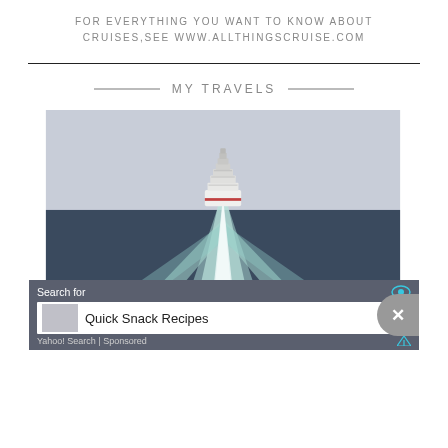FOR EVERYTHING YOU WANT TO KNOW ABOUT CRUISES,SEE WWW.ALLTHINGSCRUISE.COM
MY TRAVELS
[Figure (photo): Aerial rear view of a large cruise ship sailing through the ocean, leaving a wide white wake on dark blue water under a grey sky. Advertisement bar overlay at bottom showing 'Search for Quick Snack Recipes — Yahoo! Search | Sponsored'.]